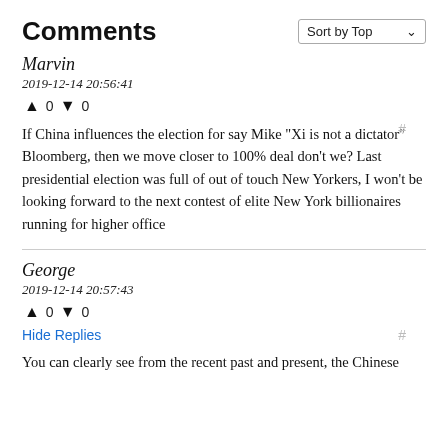Comments
Sort by Top
Marvin
2019-12-14 20:56:41
▲ 0 ▼ 0
If China influences the election for say Mike "Xi is not a dictator" Bloomberg, then we move closer to 100% deal don't we? Last presidential election was full of out of touch New Yorkers, I won't be looking forward to the next contest of elite New York billionaires running for higher office
George
2019-12-14 20:57:43
▲ 0 ▼ 0
Hide Replies
You can clearly see from the recent past and present, the Chinese